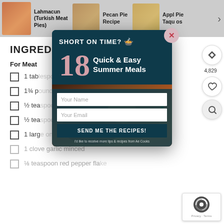[Figure (screenshot): Website recipe page screenshot showing a carousel of recipe thumbnails at top (Lahmacun Turkish Meat Pies, Pecan Pie Recipe, Apple Pie Taquitos), an ingredients section with checkboxes, and a popup modal overlay for 'SHORT ON TIME? 18 Quick & Easy Summer Meals' email signup form with a food photo, Your Name and Your Email fields, and a SEND ME THE RECIPES! button. A reCAPTCHA widget appears at bottom right.]
SHORT ON TIME?
18 Quick & Easy Summer Meals
INGREDIENTS
For Meat
1 tab
1¾ p
½ tea
½ tea
1 larg
1 clove garlic minced
⅛ teaspoon red pepper flake
Your Name
Your Email
SEND ME THE RECIPES!
I'd like to receive more tips & recipes from Ae Cooks
Privacy · Terms
4,829